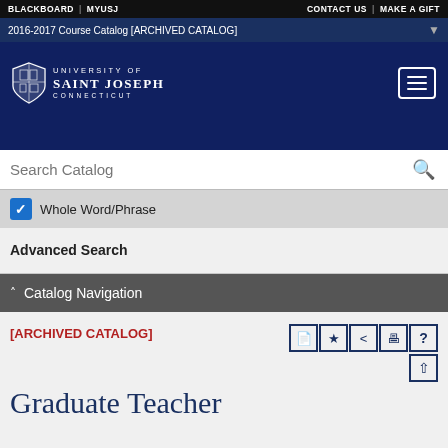BLACKBOARD | MYUSJ | CONTACT US | MAKE A GIFT
2016-2017 Course Catalog [ARCHIVED CATALOG]
[Figure (logo): University of Saint Joseph Connecticut shield logo with navigation hamburger menu button]
Search Catalog
Whole Word/Phrase
Advanced Search
Catalog Navigation
[ARCHIVED CATALOG]
Graduate Teacher